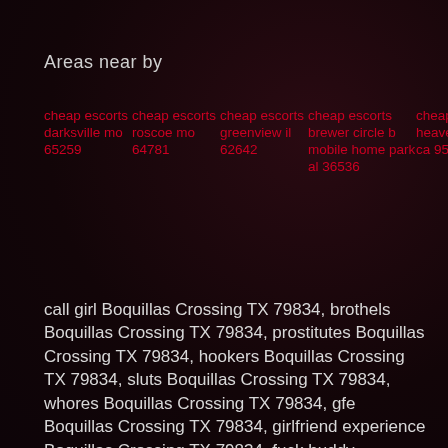Areas near by
cheap escorts darksville mo 65259
cheap escorts roscoe mo 64781
cheap escorts greenview il 62642
cheap escorts brewer circle b mobile home park al 36536
cheap escorts heavenly hills ca 95327
call girl Boquillas Crossing TX 79834, brothels Boquillas Crossing TX 79834, prostitutes Boquillas Crossing TX 79834, hookers Boquillas Crossing TX 79834, sluts Boquillas Crossing TX 79834, whores Boquillas Crossing TX 79834, gfe Boquillas Crossing TX 79834, girlfriend experience Boquillas Crossing TX 79834, fuck buddy Boquillas Crossing TX 79834, hookups Boquillas